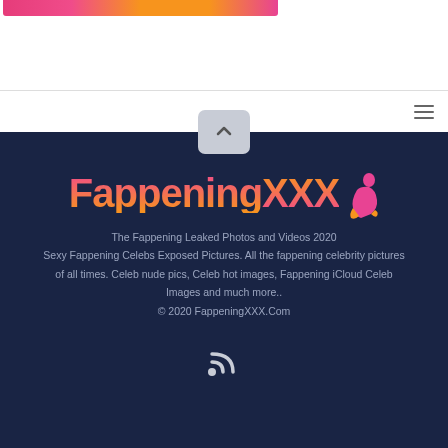[Figure (screenshot): Top banner strip with colorful gradient image]
Navigation bar with hamburger menu icon
[Figure (logo): FappeningXXX logo with gradient text and figure illustration]
The Fappening Leaked Photos and Videos 2020
Sexy Fappening Celebs Exposed Pictures. All the fappening celebrity pictures of all times. Celeb nude pics, Celeb hot images, Fappening iCloud Celeb Images and much more..
© 2020 FappeningXXX.Com
[Figure (illustration): RSS feed icon]